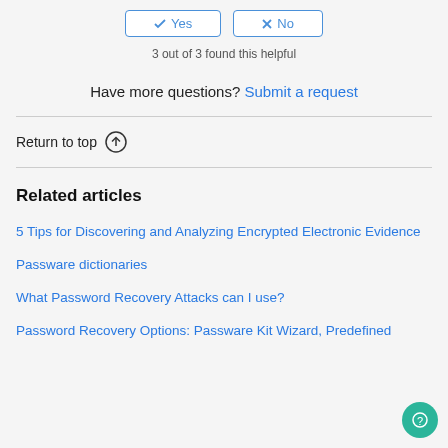✓ Yes  ✗ No (buttons)
3 out of 3 found this helpful
Have more questions? Submit a request
Return to top ↑
Related articles
5 Tips for Discovering and Analyzing Encrypted Electronic Evidence
Passware dictionaries
What Password Recovery Attacks can I use?
Password Recovery Options: Passware Kit Wizard, Predefined